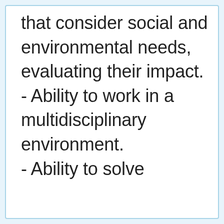that consider social and environmental needs, evaluating their impact. - Ability to work in a multidisciplinary environment. - Ability to solve